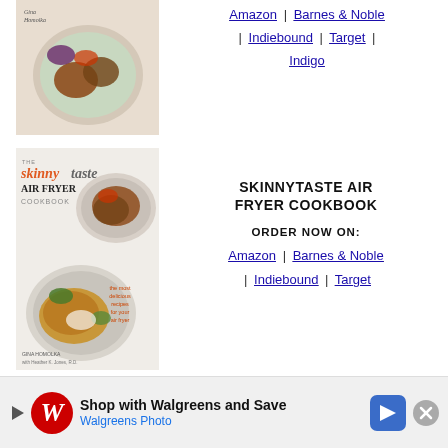[Figure (photo): Partial view of a cookbook cover showing food on a plate, top of page]
Amazon | Barnes & Noble | Indiebound | Target | Indigo
[Figure (photo): Skinnytaste Air Fryer Cookbook cover showing fried food on plates]
SKINNYTASTE AIR FRYER COOKBOOK
ORDER NOW ON:
Amazon | Barnes & Noble | Indiebound | Target
[Figure (photo): Skinnytaste One & Done cookbook cover showing a bowl of meat dish]
SKINNYTASTE ONE & DONE
ORDER NOW ON:
Amazon | Barnes & Noble | Indiebound | Target
[Figure (infographic): Walgreens advertisement banner: Shop with Walgreens and Save, Walgreens Photo]